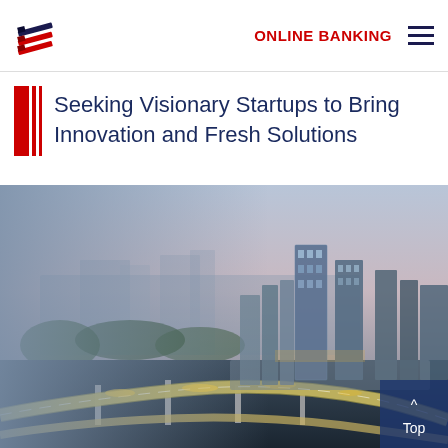ONLINE BANKING
Seeking Visionary Startups to Bring Innovation and Fresh Solutions
[Figure (photo): Aerial night/dusk view of a modern city skyline with tall glass skyscrapers, a curved elevated highway, and illuminated streets beside a waterfront area. A 'Top' button overlay appears in the bottom-right corner.]